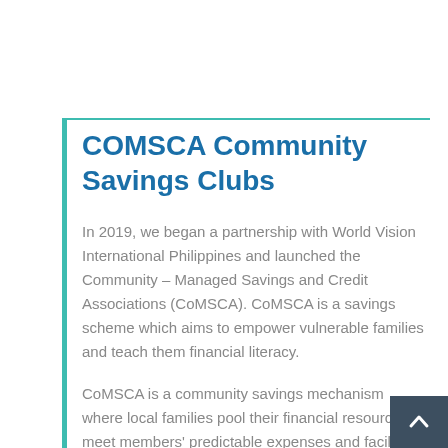COMSCA Community Savings Clubs
In 2019, we began a partnership with World Vision International Philippines and launched the Community – Managed Savings and Credit Associations (CoMSCA). CoMSCA is a savings scheme which aims to empower vulnerable families and teach them financial literacy.
CoMSCA is a community savings mechanism where local families pool their financial resources to meet members' predictable expenses and facilitate household cash flow management.